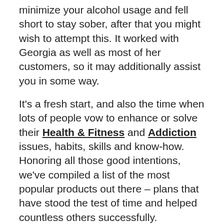minimize your alcohol usage and fell short to stay sober, after that you might wish to attempt this. It worked with Georgia as well as most of her customers, so it may additionally assist you in some way.
It's a fresh start, and also the time when lots of people vow to enhance or solve their Health & Fitness and Addiction issues, habits, skills and know-how. Honoring all those good intentions, we've compiled a list of the most popular products out there – plans that have stood the test of time and helped countless others successfully. Nonetheless shopping around for the best goods for the needs and lifestyle? One of these, 7 Days to Drink Less , should be the proper pick for you personally.
Does It Really Work Or Scam?
7 Days to Drink Less isn't a scam. You are able to try this with Completely NO Danger, because 7daystodrinkless.com offer 100% cash back...